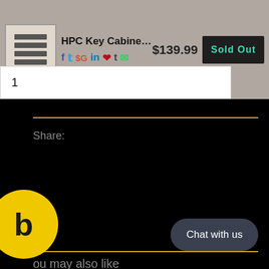[Figure (screenshot): Product listing screenshot for HPC Key Cabinet 160 key with thumbnail image, social share icons, price $139.99, and Sold Out button]
1
Share:
b
You may also like
[Figure (photo): White product image placeholder card]
Chat with us